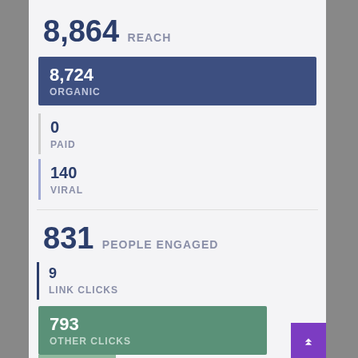8,864 REACH
8,724
ORGANIC
0
PAID
140
VIRAL
831 PEOPLE ENGAGED
9
LINK CLICKS
793
OTHER CLICKS
232
STORIES CREATED
190 PEOPLE TALKING ABOUT THIS